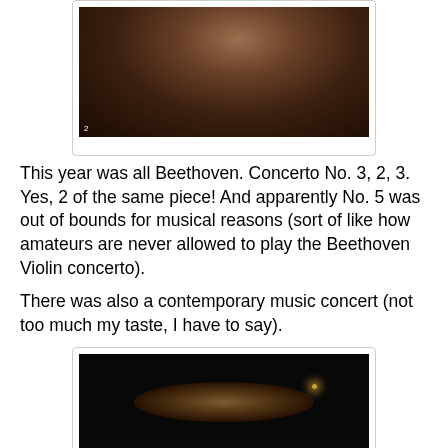[Figure (photo): Concert hall audience viewed from behind, seats filled with attendees, dark warm tones]
This year was all Beethoven. Concerto No. 3, 2, 3. Yes, 2 of the same piece! And apparently No. 5 was out of bounds for musical reasons (sort of like how amateurs are never allowed to play the Beethoven Violin concerto).
There was also a contemporary music concert (not too much my taste, I have to say).
[Figure (photo): Dark concert stage with performers under dim lighting, nearly black image with a stage light visible in background]